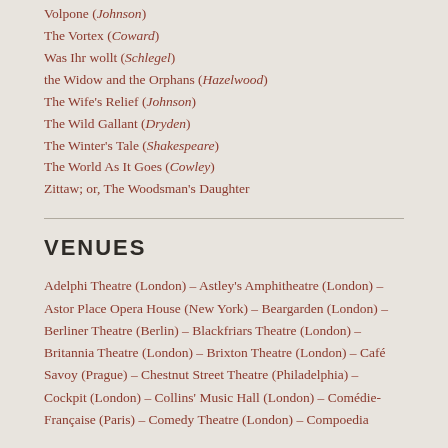Volpone (Johnson)
The Vortex (Coward)
Was Ihr wollt (Schlegel)
the Widow and the Orphans (Hazelwood)
The Wife's Relief (Johnson)
The Wild Gallant (Dryden)
The Winter's Tale (Shakespeare)
The World As It Goes (Cowley)
Zittaw; or, The Woodsman's Daughter
VENUES
Adelphi Theatre (London) – Astley's Amphitheatre (London) – Astor Place Opera House (New York) – Beargarden (London) – Berliner Theatre (Berlin) – Blackfriars Theatre (London) – Britannia Theatre (London) – Brixton Theatre (London) – Café Savoy (Prague) – Chestnut Street Theatre (Philadelphia) – Cockpit (London) – Collins' Music Hall (London) – Comédie-Française (Paris) – Comedy Theatre (London) – Compoedia